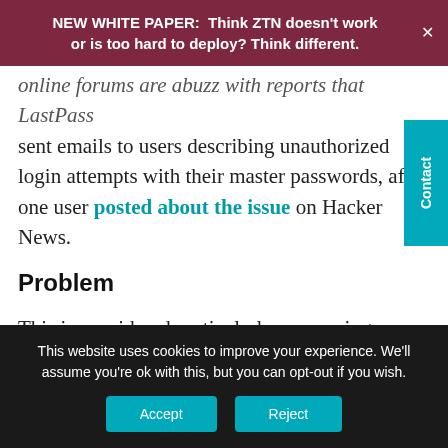NEW WHITE PAPER:  Think ZTN doesn't work or is too hard to deploy? Think different.
online forums are abuzz with reports that LastPass sent emails to users describing unauthorized login attempts with their master passwords, after one user posted about the issue on Hacker News.
Problem
This is considered particularly concerning because the password was used only on LastPass and stored only in an encrypted password manager
This website uses cookies to improve your experience. We'll assume you're ok with this, but you can opt-out if you wish.